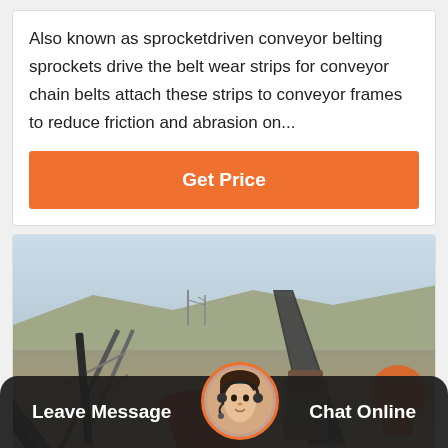Also known as sprocketdriven conveyor belting sprockets drive the belt wear strips for conveyor chain belts attach these strips to conveyor frames to reduce friction and abrasion on...
Get Price
[Figure (photo): Industrial mining site with conveyor belts, crushers, and heavy machinery in an open-pit quarry setting]
Leave Message
Chat Online